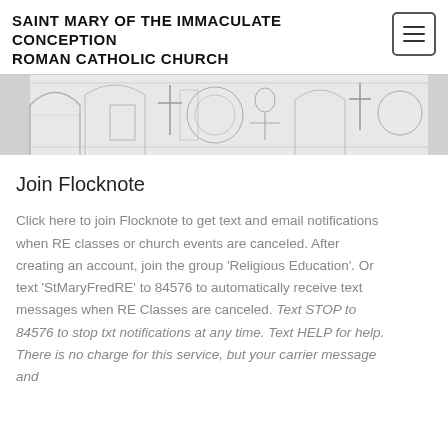SAINT MARY OF THE IMMACULATE CONCEPTION ROMAN CATHOLIC CHURCH
[Figure (illustration): Decorative banner image showing detailed sketches/drawings of church interior elements including statues, architectural details, crosses, and religious imagery in a horizontal strip]
Join Flocknote
Click here to join Flocknote to get text and email notifications when RE classes or church events are canceled. After creating an account, join the group 'Religious Education'. Or text 'StMaryFredRE' to 84576 to automatically receive text messages when RE Classes are canceled. Text STOP to 84576 to stop txt notifications at any time. Text HELP for help. There is no charge for this service, but your carrier message and